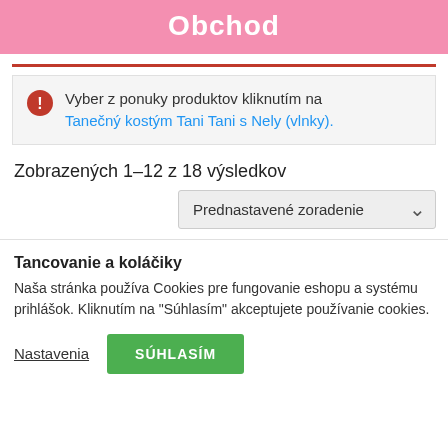Obchod
Vyber z ponuky produktov kliknutím na Tanečný kostým Tani Tani s Nely (vlnky).
Zobrazených 1–12 z 18 výsledkov
Prednastavené zoradenie
Tancovanie a koláčiky
Naša stránka používa Cookies pre fungovanie eshopu a systému prihlášok. Kliknutím na "Súhlasím" akceptujete používanie cookies.
Nastavenia
SÚHLASÍM